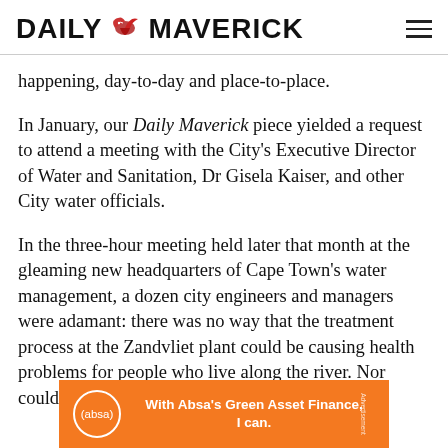DAILY MAVERICK
happening, day-to-day and place-to-place.
In January, our Daily Maverick piece yielded a request to attend a meeting with the City's Executive Director of Water and Sanitation, Dr Gisela Kaiser, and other City water officials.
In the three-hour meeting held later that month at the gleaming new headquarters of Cape Town's water management, a dozen city engineers and managers were adamant: there was no way that the treatment process at the Zandvliet plant could be causing health problems for people who live along the river. Nor could it be causing the unhealthy
[Figure (other): Absa bank advertisement banner: orange background, Absa logo circle, text 'With Absa's Green Asset Finance, I can.']